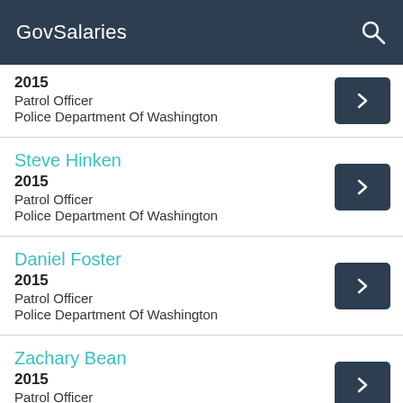GovSalaries
2015
Patrol Officer
Police Department Of Washington
Steve Hinken
2015
Patrol Officer
Police Department Of Washington
Daniel Foster
2015
Patrol Officer
Police Department Of Washington
Zachary Bean
2015
Patrol Officer